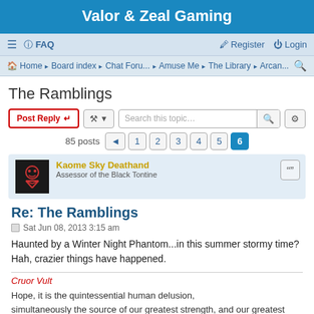Valor & Zeal Gaming
≡  FAQ    Register  Login
Home · Board index · Chat Foru... · Amuse Me · The Library · Arcan...
The Ramblings
Post Reply  [tools]  Search this topic...  85 posts  1 2 3 4 5 6
[Figure (screenshot): User avatar for Kaome Sky Deathand — dark skull/crossbones icon on black background]
Kaome Sky Deathand
Assessor of the Black Tontine
Re: The Ramblings
Sat Jun 08, 2013 3:15 am
Haunted by a Winter Night Phantom...in this summer stormy time? Hah, crazier things have happened.
Cruor Vult
Hope, it is the quintessential human delusion, simultaneously the source of our greatest strength, and our greatest weakness.